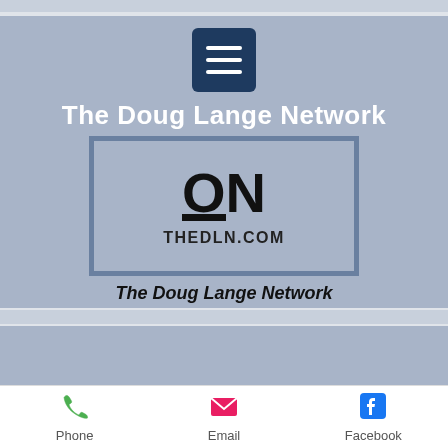[Figure (logo): Hamburger menu button icon (dark blue rounded square with three white horizontal lines)]
The Doug Lange Network
[Figure (logo): Logo showing stylized ON letters with underline, text THEDLN.COM below, inside a bordered box]
The Doug Lange Network
[Figure (logo): Partial image showing a green and white circular logo with letter B, inside a bordered frame]
Phone
Email
Facebook